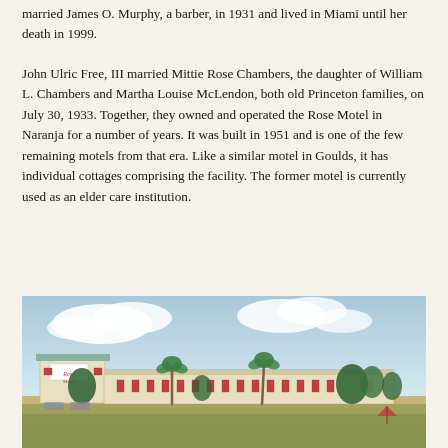married James O. Murphy, a barber, in 1931 and lived in Miami until her death in 1999.
John Ulric Free, III married Mittie Rose Chambers, the daughter of William L. Chambers and Martha Louise McLendon, both old Princeton families, on July 30, 1933. Together, they owned and operated the Rose Motel in Naranja for a number of years. It was built in 1951 and is one of the few remaining motels from that era. Like a similar motel in Goulds, it has individual cottages comprising the facility. The former motel is currently used as an elder care institution.
[Figure (illustration): Vintage postcard-style illustration of the Rose Motel in Naranja, showing a low-rise white motel complex with individual cottage units, palm trees and tropical vegetation, under a blue sky with white clouds. A sign reading 'Rose Motel' is visible on the main building.]